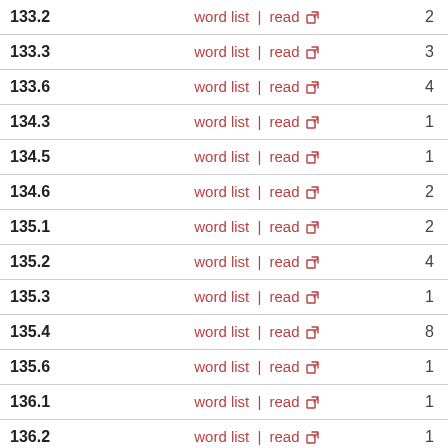| Code | Links | Count |
| --- | --- | --- |
| 133.2 | word list | read | 2 |
| 133.3 | word list | read | 3 |
| 133.6 | word list | read | 4 |
| 134.3 | word list | read | 1 |
| 134.5 | word list | read | 1 |
| 134.6 | word list | read | 2 |
| 135.1 | word list | read | 2 |
| 135.2 | word list | read | 4 |
| 135.3 | word list | read | 1 |
| 135.4 | word list | read | 8 |
| 135.6 | word list | read | 1 |
| 136.1 | word list | read | 1 |
| 136.2 | word list | read | 1 |